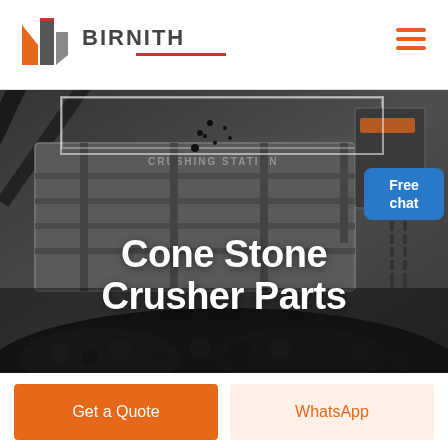[Figure (logo): Birnith company logo: orange/red building icon with text BIRNITH and red underline]
[Figure (photo): Industrial cone stone crusher machine working on a pile of rocks, dark overlay background, showing a crushing station with conveyor belt arm and large machinery]
Cone Stone Crusher Parts
[Figure (illustration): Free chat widget with customer service representative in top right corner of hero image]
Get a Quote
WhatsApp